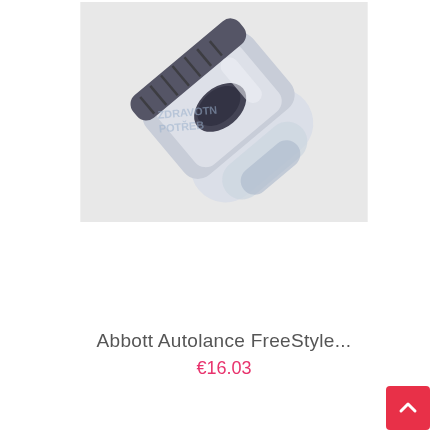[Figure (photo): Abbott Autolance FreeStyle lancing device - a white/silver elongated autolanct device with dark grip section and oval trigger button, shown at an angle on grey/white background with a watermark reading 'ZDRAVOTN POTRE' (medical supplies store)]
Abbott Autolance FreeStyle...
€16.03